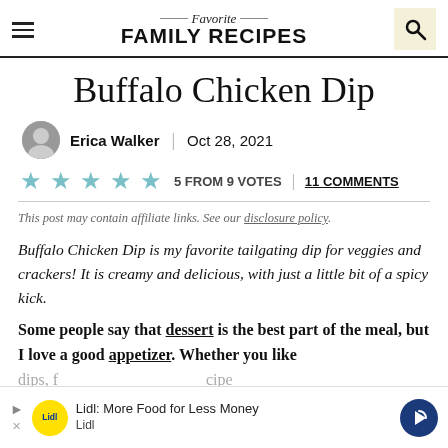Favorite FAMILY RECIPES
Buffalo Chicken Dip
Erica Walker | Oct 28, 2021
5 FROM 9 VOTES | 11 COMMENTS
This post may contain affiliate links. See our disclosure policy.
Buffalo Chicken Dip is my favorite tailgating dip for veggies and crackers! It is creamy and delicious, with just a little bit of a spicy kick.
Some people say that dessert is the best part of the meal, but I love a good appetizer. Whether you like dips, f... cipe that w...